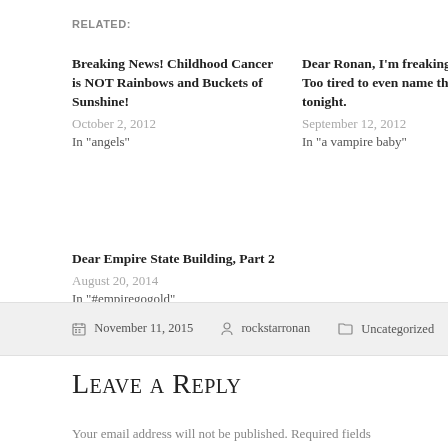RELATED:
Breaking News! Childhood Cancer is NOT Rainbows and Buckets of Sunshine!
October 2, 2012
In "angels"
Dear Ronan, I'm freaking tired. Too tired to even name this post tonight.
September 12, 2012
In "a vampire baby"
Dear Empire State Building, Part 2
August 20, 2014
In "#empiregogold"
November 11, 2015  rockstarronan  Uncategorized
Leave a Reply
Your email address will not be published. Required fields